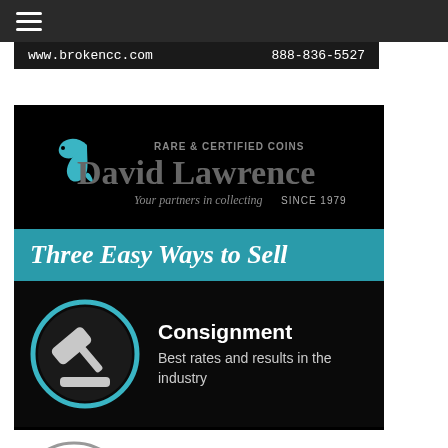[Figure (screenshot): Dark navigation bar with hamburger menu icon]
www.brokencc.com    888-836-5527
[Figure (infographic): David Lawrence Rare & Certified Coins advertisement. Logo with dolphin graphic. Tagline: Your partners in collecting SINCE 1979. Teal banner: Three Easy Ways to Sell. Black section with gavel icon circle and text: Consignment - Best rates and results in the industry]
[Figure (photo): Partial view of a coin and text at bottom of page]